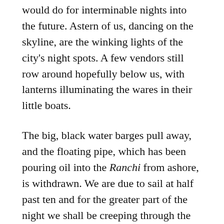would do for interminable nights into the future. Astern of us, dancing on the skyline, are the winking lights of the city's night spots. A few vendors still row around hopefully below us, with lanterns illuminating the wares in their little boats.
The big, black water barges pull away, and the floating pipe, which has been pouring oil into the Ranchi from ashore, is withdrawn. We are due to sail at half past ten and for the greater part of the night we shall be creeping through the Suez Canal.
At exactly ten thirty a police launch comes alongside, and a Suez Canal official climbs